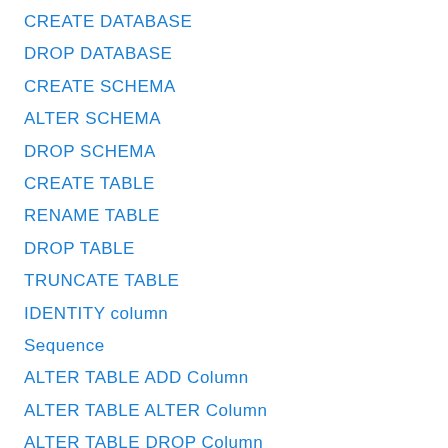CREATE DATABASE
DROP DATABASE
CREATE SCHEMA
ALTER SCHEMA
DROP SCHEMA
CREATE TABLE
RENAME TABLE
DROP TABLE
TRUNCATE TABLE
IDENTITY column
Sequence
ALTER TABLE ADD Column
ALTER TABLE ALTER Column
ALTER TABLE DROP Column